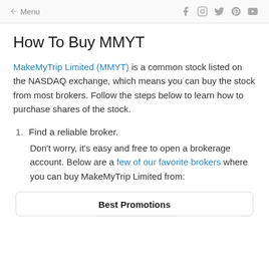← Menu
How To Buy MMYT
MakeMyTrip Limited (MMYT) is a common stock listed on the NASDAQ exchange, which means you can buy the stock from most brokers. Follow the steps below to learn how to purchase shares of the stock.
1. Find a reliable broker.
Don't worry, it's easy and free to open a brokerage account. Below are a few of our favorite brokers where you can buy MakeMyTrip Limited from:
Best Promotions